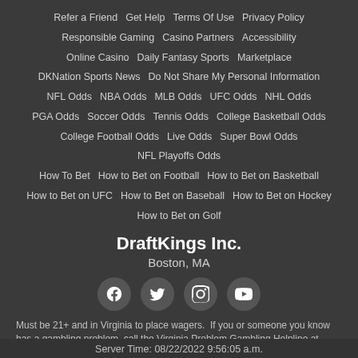Refer a Friend · Get Help · Terms Of Use · Privacy Policy · Responsible Gaming · Casino Partners · Accessibility · Online Casino · Daily Fantasy Sports · Marketplace · DKNation Sports News · Do Not Share My Personal Information · NFL Odds · NBA Odds · MLB Odds · UFC Odds · NHL Odds · PGA Odds · Soccer Odds · Tennis Odds · College Basketball Odds · College Football Odds · Live Odds · Super Bowl Odds · NFL Playoffs Odds · How To Bet · How to Bet on Football · How to Bet on Basketball · How to Bet on UFC · How to Bet on Baseball · How to Bet on Hockey · How to Bet on Golf
DraftKings Inc.
Boston, MA
[Figure (other): Social media icons: Facebook, Twitter, Instagram, YouTube]
Must be 21+ and in Virginia to place wagers.  If you or someone you know has a gambling problem, call the Virginia Problem Gambling Helpline at
Server Time: 08/22/2022 9:56:05 a.m.